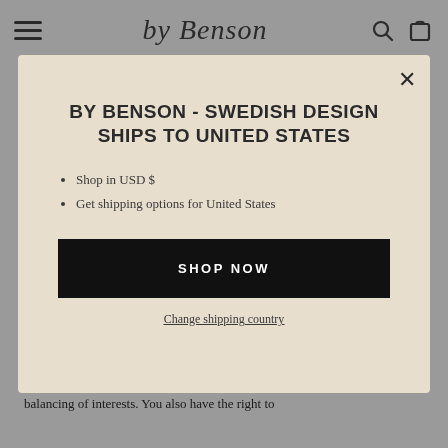by Benson
BY BENSON - SWEDISH DESIGN SHIPS TO UNITED STATES
Shop in USD $
Get shipping options for United States
SHOP NOW
Change shipping country
10.4 Right to object - You have the right to object at any time to the processing of your personal data if the lawful basis for the processing is a balancing of interests. You also have the right to